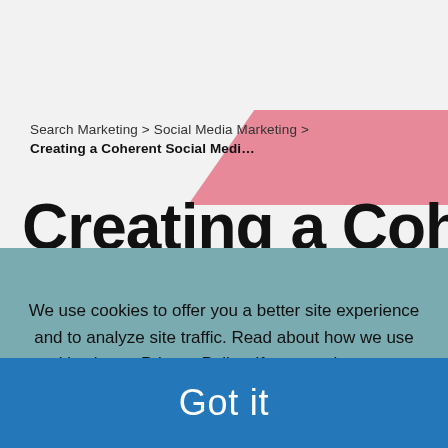[Figure (logo): Bruce Clay logo — white text on blue background, top-left corner]
Search Marketing > Social Media Marketing >
Creating a Coherent Social Medi…
Creating a Coherent
We use cookies to offer you a better site experience and to analyze site traffic. Read about how we use cookies in our Privacy Policy. If you continue to use this site, you consent to our use of cookies.
Got it